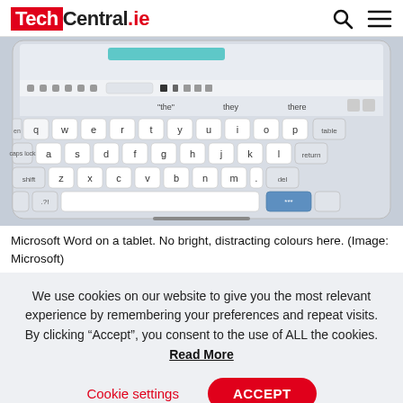TechCentral.ie
[Figure (photo): Microsoft Word on a tablet showing a soft keyboard/virtual keyboard on a light gray background. The interface shows Word document editing with the on-screen keyboard visible.]
Microsoft Word on a tablet. No bright, distracting colours here. (Image: Microsoft)
We use cookies on our website to give you the most relevant experience by remembering your preferences and repeat visits. By clicking “Accept”, you consent to the use of ALL the cookies. Read More
Cookie settings   ACCEPT